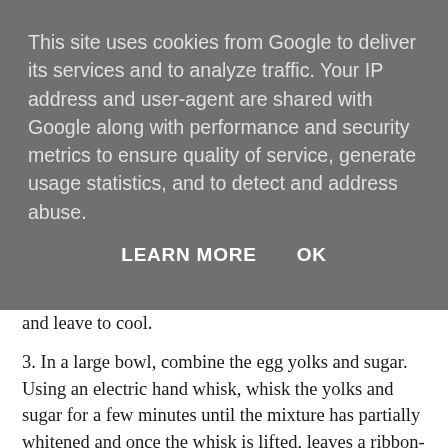[Figure (screenshot): Cookie consent overlay banner with gray background containing text about Google cookies and two buttons: LEARN MORE and OK]
and leave to cool.
3. In a large bowl, combine the egg yolks and sugar. Using an electric hand whisk, whisk the yolks and sugar for a few minutes until the mixture has partially whitened and once the whisk is lifted, leaves a ribbon-like trail, known in patisserie making as "ribbon-stage".
4. Cut the soaked prunes in half, combine them with the whisked egg mixture and the melted chocolate.
5. In another large bowl, whisk the egg whites to soft peaks (use the electric hand whisk for this but ensure that it is completely clean and with no trace of water or yolks or else your egg whites